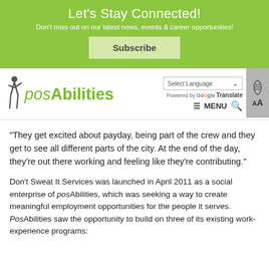Let's Stay Connected!
Don't miss out on our latest news, events & career opportunities!
Subscribe
[Figure (logo): posAbilities logo with figure silhouette and green wordmark]
Select Language | Powered by Google Translate | MENU
“They get excited about payday, being part of the crew and they get to see all different parts of the city. At the end of the day, they’re out there working and feeling like they’re contributing.”
Don’t Sweat It Services was launched in April 2011 as a social enterprise of posAbilities, which was seeking a way to create meaningful employment opportunities for the people it serves. PosAbilities saw the opportunity to build on three of its existing work-experience programs: